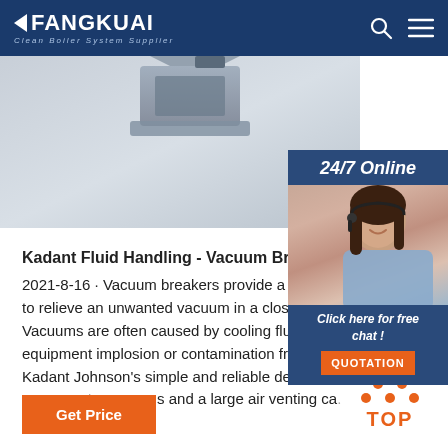FANGKUAI Clean Boiler System Supplier
[Figure (photo): Product photo showing boiler/vacuum breaker equipment with gray metallic casing against light background]
[Figure (photo): 24/7 Online customer service widget showing a woman wearing a headset with a smile, with orange QUOTATION button and 'Click here for free chat!' text]
Kadant Fluid Handling - Vacuum Breakers
2021-8-16 · Vacuum breakers provide a simple, to relieve an unwanted vacuum in a closed vess. Vacuums are often caused by cooling fluids and equipment implosion or contamination from ba. Kadant Johnson's simple and reliable design pr. response to vacuums and a large air venting ca.
Get Price
[Figure (illustration): Orange TOP button with dots arranged in upward-pointing triangle above the word TOP]